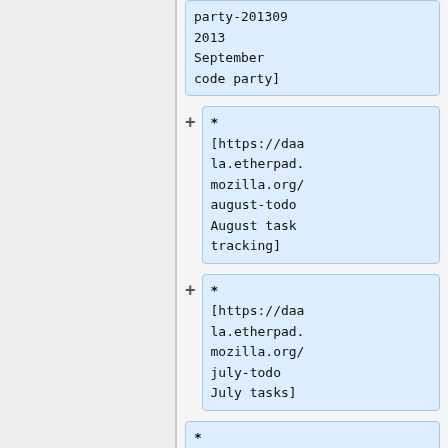* [https://daala.etherpad.mozilla.org/coding-party-201309 2013 September code party]
* [https://daala.etherpad.mozilla.org/august-todo August task tracking]
* [https://daala.etherpad.mozilla.org/july-todo July tasks]
* [https://daa...